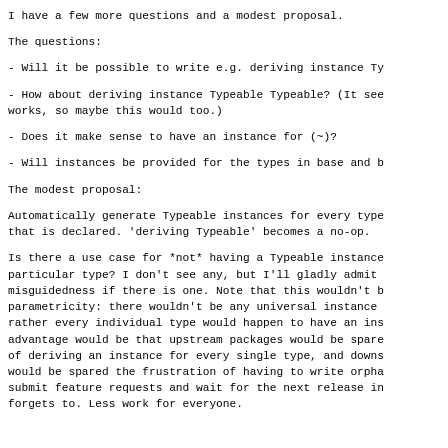I have a few more questions and a modest proposal.
The questions:
- Will it be possible to write e.g. deriving instance Typ
- How about deriving instance Typeable Typeable? (It seem works, so maybe this would too.)
- Does it make sense to have an instance for (~)?
- Will instances be provided for the types in base and bu
The modest proposal:
Automatically generate Typeable instances for every type that is declared. 'deriving Typeable' becomes a no-op.
Is there a use case for *not* having a Typeable instance particular type? I don't see any, but I'll gladly admit misguidedness if there is one. Note that this wouldn't b parametricity: there wouldn't be any universal instance rather every individual type would happen to have an inst advantage would be that upstream packages would be spare of deriving an instance for every single type, and downst would be spared the frustration of having to write orphan submit feature requests and wait for the next release in forgets to. Less work for everyone.